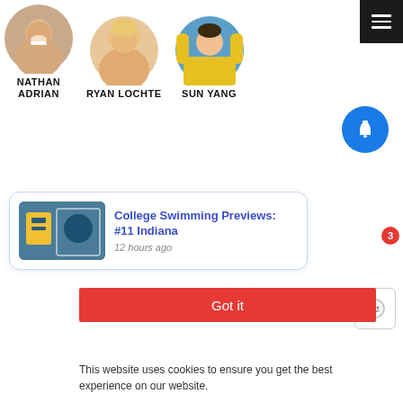[Figure (photo): Circular profile photo of swimmer Nathan Adrian]
NATHAN ADRIAN
[Figure (photo): Circular profile photo of swimmer Ryan Lochte]
RYAN LOCHTE
[Figure (photo): Circular profile photo of swimmer Sun Yang in yellow uniform with arms raised]
SUN YANG
[Figure (screenshot): Hamburger/menu icon button (three white horizontal lines on dark background)]
[Figure (screenshot): Circular blue notification bell icon with red badge showing number 3]
[Figure (screenshot): Black circular X/close button]
[Figure (screenshot): Notification popup card: thumbnail of swimming event, title 'College Swimming Previews: #11 Indiana', timestamp '12 hours ago']
College Swimming Previews: #11 Indiana
12 hours ago
[Figure (screenshot): Red 'Got it' button for cookie consent]
Got it
This website uses cookies to ensure you get the best experience on our website.